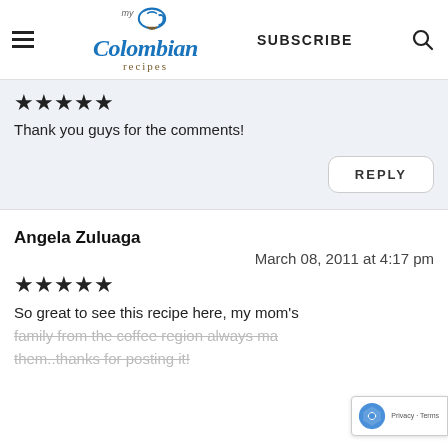my Colombian recipes | SUBSCRIBE
★★★★★
Thank you guys for the comments!
REPLY
Angela Zuluaga
March 08, 2011 at 4:17 pm
★★★★★
So great to see this recipe here, my mom's family from the coffee region always ma them..thanks for posting it!